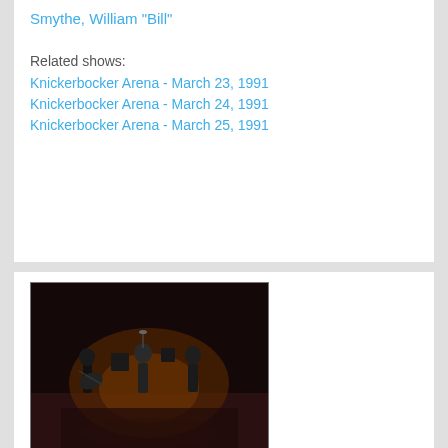Smythe, William "Bill"
Related shows:
Knickerbocker Arena - March 23, 1991
Knickerbocker Arena - March 24, 1991
Knickerbocker Arena - March 25, 1991
[Figure (photo): Concert photo showing musicians on stage — Grateful Dead: Bob Weir, Jerry Garcia, and Vince Welnick]
Grateful Dead: Bob Weir, Jerry Garcia, and Vince Welnick (Image)
Related show:
Nassau Veterans Memorial Coliseum - March 31, 1993
[Figure (photo): Concert arena photo, wide shot of stage and audience from above]